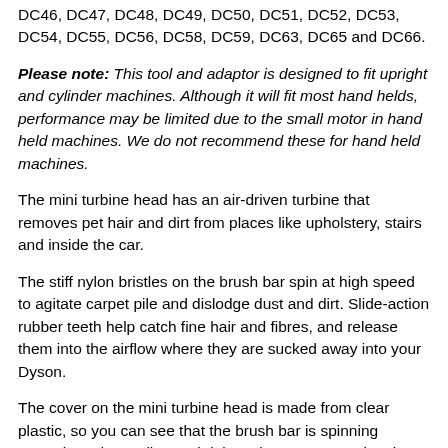DC46, DC47, DC48, DC49, DC50, DC51, DC52, DC53, DC54, DC55, DC56, DC58, DC59, DC63, DC65 and DC66.
Please note: This tool and adaptor is designed to fit upright and cylinder machines. Although it will fit most hand helds, performance may be limited due to the small motor in hand held machines. We do not recommend these for hand held machines.
The mini turbine head has an air-driven turbine that removes pet hair and dirt from places like upholstery, stairs and inside the car.
The stiff nylon bristles on the brush bar spin at high speed to agitate carpet pile and dislodge dust and dirt. Slide-action rubber teeth help catch fine hair and fibres, and release them into the airflow where they are sucked away into your Dyson.
The cover on the mini turbine head is made from clear plastic, so you can see that the brush bar is spinning properly and actually watch it in action. Better yet, it strips down for easy cleaning in just a few easy twists.
Dyson charge an eye-watering £45 for their mini turbine head! Why not save over £30 with one of these?
If you have a pre DC14 machine, you can buy the turbo head